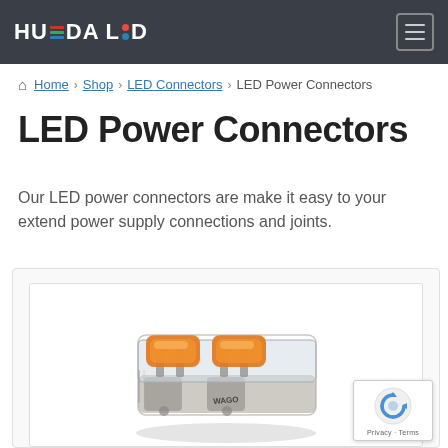HUEDA LED
Home › Shop › LED Connectors › LED Power Connectors
LED Power Connectors
Our LED power connectors are make it easy to your extend power supply connections and joints.
[Figure (photo): Photo of a transparent orange WAGO-style LED wire connector/coupler with lever clamp mechanism]
[Figure (logo): Google reCAPTCHA badge with arrow logo and Privacy - Terms text]